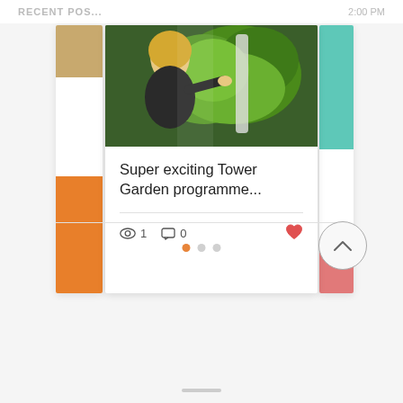RECENT POS... | 2:00 PM
[Figure (screenshot): Screenshot of a mobile app blog post card showing a woman tending to a Tower Garden with lush green plants. Card shows title 'Super exciting Tower Garden programme...', view count of 1, comment count of 0, and a heart/like icon. Navigation dots and scroll-to-top button are visible below the card.]
Super exciting Tower Garden programme...
1  0